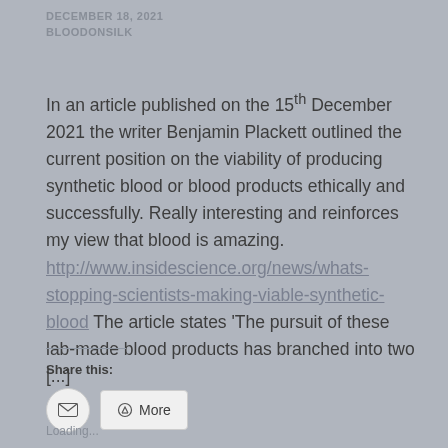DECEMBER 18, 2021
BLOODONSILK
In an article published on the 15th December 2021 the writer Benjamin Plackett outlined the current position on the viability of producing synthetic blood or blood products ethically and successfully. Really interesting and reinforces my view that blood is amazing. http://www.insidescience.org/news/whats-stopping-scientists-making-viable-synthetic-blood The article states 'The pursuit of these lab-made blood products has branched into two [...]
Share this:
Loading...